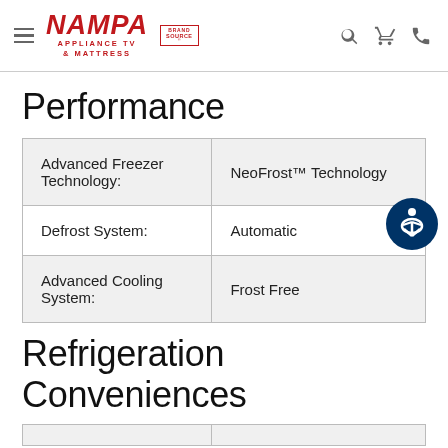Nampa Appliance TV & Mattress — Brand Source — navigation header
Performance
| Feature | Value |
| --- | --- |
| Advanced Freezer Technology: | NeoFrost™ Technology |
| Defrost System: | Automatic |
| Advanced Cooling System: | Frost Free |
Refrigeration Conveniences